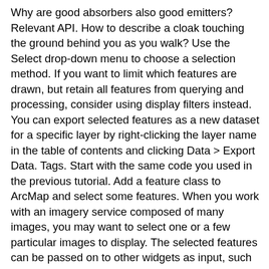Why are good absorbers also good emitters? Relevant API. How to describe a cloak touching the ground behind you as you walk? Use the Select drop-down menu to choose a selection method. If you want to limit which features are drawn, but retain all features from querying and processing, consider using display filters instead. You can export selected features as a new dataset for a specific layer by right-clicking the layer name in the table of contents and clicking Data > Export Data. Tags. Start with the same code you used in the previous tutorial. Add a feature class to ArcMap and select some features. When you work with an imagery service composed of many images, you may want to select one or a few particular images to display. The selected features can be passed on to other widgets as input, such as the Geoprocessing widget, Attribute Table widget, Directions widget, and so on. Open the Visual Basic Editor. In this section, you will learn how to select and highlight a sub-set of a feature service's data. That means that a definition query impacts not only drawing, but also which features appear in the layer's attribute table, can be selected, labeled, identified, and processed by geoprocessing tools. Procedure. That is, if your selection is all contained within one layer. In the Provide text to display for the editing panel section.